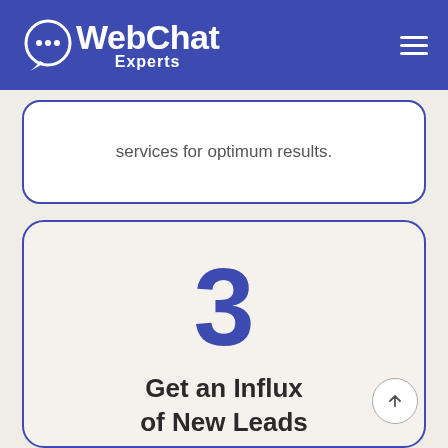[Figure (logo): WebChat Experts logo with chat bubble icon and text, white on blue/indigo background]
services for optimum results.
3
Get an Influx of New Leads